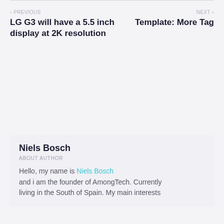< PREVIOUS
LG G3 will have a 5.5 inch display at 2K resolution
NEXT >
Template: More Tag
Niels Bosch
ABOUT AUTHOR
Hello, my name is Niels Bosch and i am the founder of AmongTech. Currently living in the South of Spain. My main interests